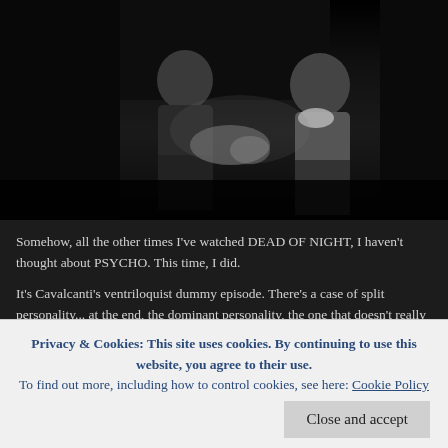[Figure (photo): Black and white film still showing figures seated, appears to be from a classic film, dark tones throughout]
Somehow, all the other times I've watched DEAD OF NIGHT, I haven't thought about PSYCHO. This time, I did.
It's Cavalcanti's ventriloquist dummy episode. There's a case of split personality... at the end, the dominant personality, the one that doesn't really belong to a living man, but to a dead squatting puppet of a thing, takes over. And an authoritative psychoanalyst explains it all to us.
Hitchcock was a voracious cinephage and would probably have checked out DEAD OF NIGHT out of curiosity, but the film's inclusion of four actors from his own THE LADY VANISHES — Michael Redgrave, GoogieWithers, Basil Radford & Naunton Wayne — would have made it even likelier. If he didn't see it when it was new, he might have been drawn to it later while getting into short story adaptation for...
Privacy & Cookies: This site uses cookies. By continuing to use this website, you agree to their use.
To find out more, including how to control cookies, see here: Cookie Policy
Close and accept